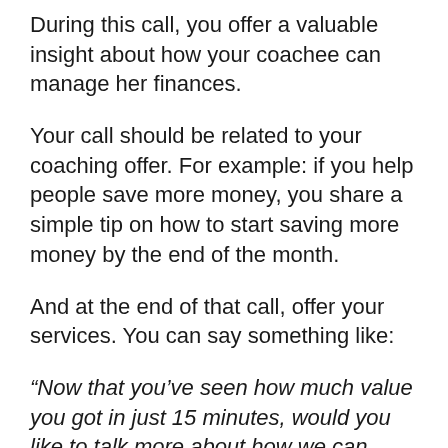During this call, you offer a valuable insight about how your coachee can manage her finances.
Your call should be related to your coaching offer. For example: if you help people save more money, you share a simple tip on how to start saving more money by the end of the month.
And at the end of that call, offer your services. You can say something like:
“Now that you’ve seen how much value you got in just 15 minutes, would you like to talk more about how we can work together to make this happen for you?”